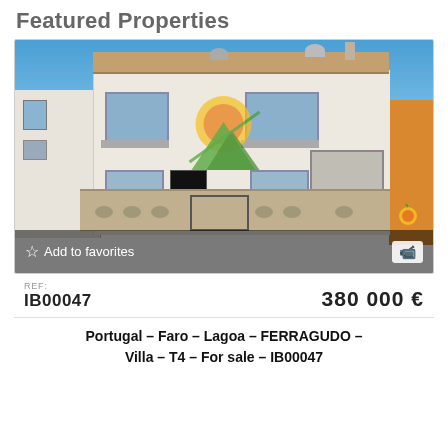Featured Properties
[Figure (photo): Exterior photo of a white two-storey villa in Ferragudo, Portugal, with balconies, a garage, and a stone base wall. A real estate agency logo watermark is overlaid on the image.]
REF: IB00047   380 000 €
Portugal – Faro – Lagoa – FERRAGUDO – Villa – T4 – For sale – IB00047